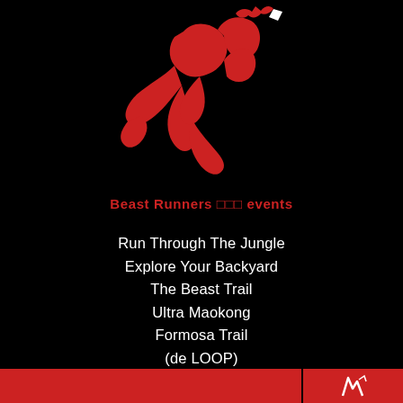[Figure (logo): Red abstract running figure / beast logo on black background]
Beast Runners □□□ events
Run Through The Jungle
Explore Your Backyard
The Beast Trail
Ultra Maokong
Formosa Trail
(de LOOP)
(HILL Runner)
[Figure (other): Red footer bar with small logo mark on the right]